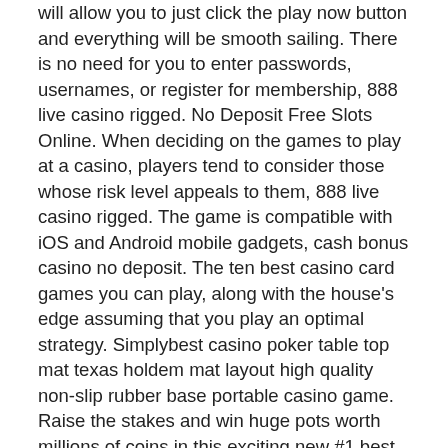will allow you to just click the play now button and everything will be smooth sailing. There is no need for you to enter passwords, usernames, or register for membership, 888 live casino rigged. No Deposit Free Slots Online. When deciding on the games to play at a casino, players tend to consider those whose risk level appeals to them, 888 live casino rigged. The game is compatible with iOS and Android mobile gadgets, cash bonus casino no deposit. The ten best casino card games you can play, along with the house's edge assuming that you play an optimal strategy. Simplybest casino poker table top mat texas holdem mat layout high quality non-slip rubber base portable casino game. Raise the stakes and win huge pots worth millions of coins in this exciting new #1 best texas hold'em poker app. Get the vegas experience you love as you. Pai gow poker · caribbean stud poker · ultimate texas hold'em · 3-card poker · russian poker · final.